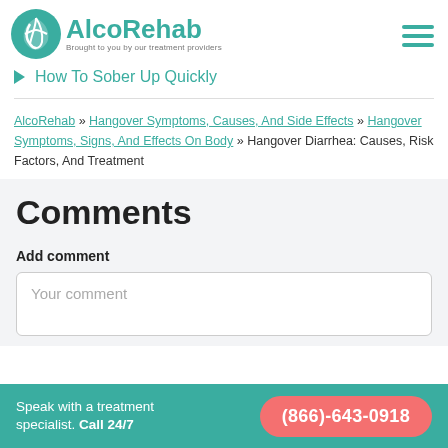AlcoRehab — Brought to you by our treatment providers
How To Sober Up Quickly
AlcoRehab » Hangover Symptoms, Causes, And Side Effects » Hangover Symptoms, Signs, And Effects On Body » Hangover Diarrhea: Causes, Risk Factors, And Treatment
Comments
Add comment
Your comment
Speak with a treatment specialist. Call 24/7 (866)-643-0918